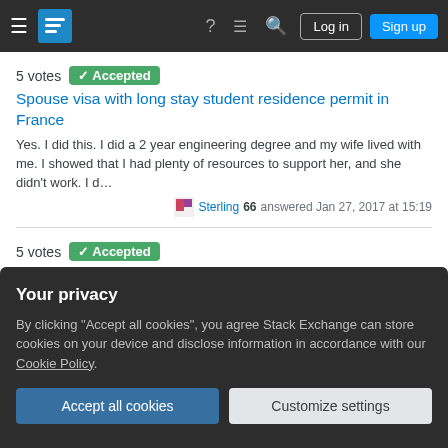Stack Exchange navigation bar with hamburger menu, logo, help, chat, search, Log in, Sign up
5 votes  Accepted
Spouse visa with long stay student residence permit in France
Yes. I did this. I did a 2 year engineering degree and my wife lived with me. I showed that I had plenty of resources to support her, and she didn't work. I d…
Sterling 66 answered Jan 27, 2017 at 15:19
5 votes  Accepted
Can I use fast track for a 3-year UK visa given my history?
You don't say where you're applying from but nothing should stop you using the priority service. This won't change or influence the outcome of your visa
Your privacy
By clicking "Accept all cookies", you agree Stack Exchange can store cookies on your device and disclose information in accordance with our Cookie Policy.
Accept all cookies
Customize settings
The Canadians do not only want to see if you have enough money in your…